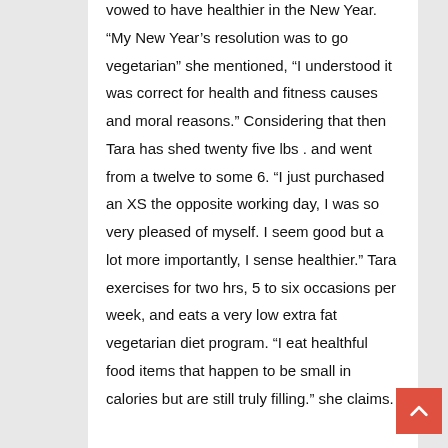vowed to have healthier in the New Year. “My New Year’s resolution was to go vegetarian” she mentioned, “I understood it was correct for health and fitness causes and moral reasons.” Considering that then Tara has shed twenty five lbs . and went from a twelve to some 6. “I just purchased an XS the opposite working day, I was so very pleased of myself. I seem good but a lot more importantly, I sense healthier.” Tara exercises for two hrs, 5 to six occasions per week, and eats a very low extra fat vegetarian diet program. “I eat healthful food items that happen to be small in calories but are still truly filling.” she claims.